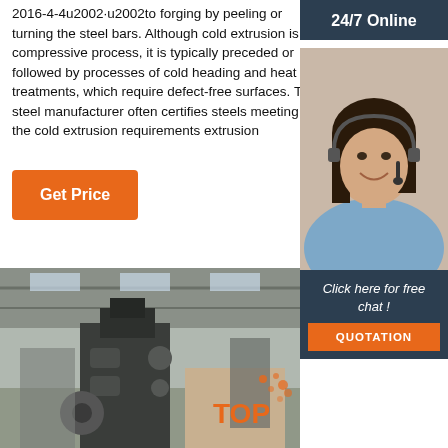2016-4-4u2002·u2002to forging by peeling or turning the steel bars. Although cold extrusion is a compressive process, it is typically preceded or followed by processes of cold heading and heat treatments, which require defect-free surfaces. The steel manufacturer often certifies steels meeting the cold extrusion requirements extrusion
Get Price
24/7 Online
[Figure (photo): Customer service agent woman with headset smiling]
Click here for free chat !
QUOTATION
[Figure (photo): Industrial factory floor with heavy machinery/forging press equipment]